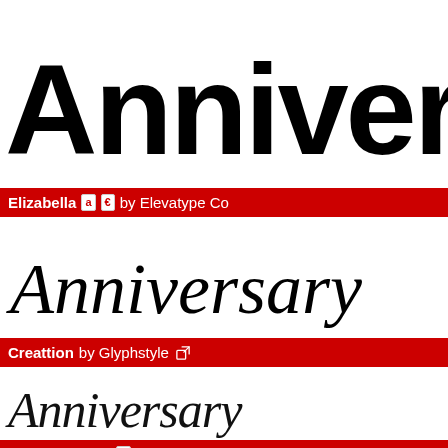Anniversary
Elizabella [a] [€] by Elevatype Co
[Figure (illustration): Anniversary written in Elizabella script font — an elegant italic calligraphic style]
Creattion by Glyphstyle [external link icon]
[Figure (illustration): Anniversary written in Creattion script font — a thin handwritten signature style]
Pinky Promise [a] by Kong Font [external link icon]